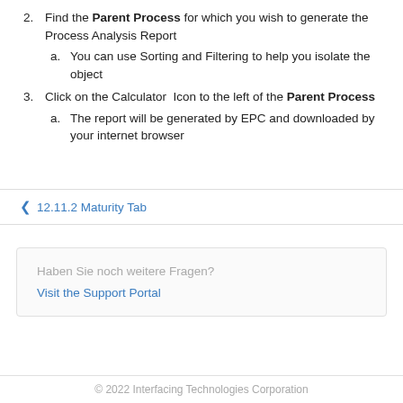2. Find the Parent Process for which you wish to generate the Process Analysis Report
a. You can use Sorting and Filtering to help you isolate the object
3. Click on the Calculator Icon to the left of the Parent Process
a. The report will be generated by EPC and downloaded by your internet browser
< 12.11.2 Maturity Tab
Haben Sie noch weitere Fragen?
Visit the Support Portal
© 2022 Interfacing Technologies Corporation